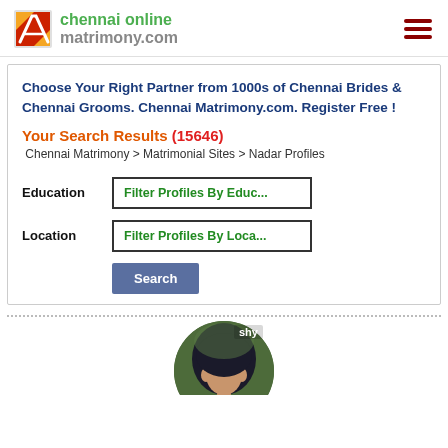chennai online matrimony.com
Choose Your Right Partner from 1000s of Chennai Brides & Chennai Grooms. Chennai Matrimony.com. Register Free !
Your Search Results (15646)
Chennai Matrimony > Matrimonial Sites > Nadar Profiles
Education  Filter Profiles By Educ...
Location  Filter Profiles By Loca...
[Figure (photo): Profile photo of a person, partially visible, circular crop, with 'shy' text visible at top]